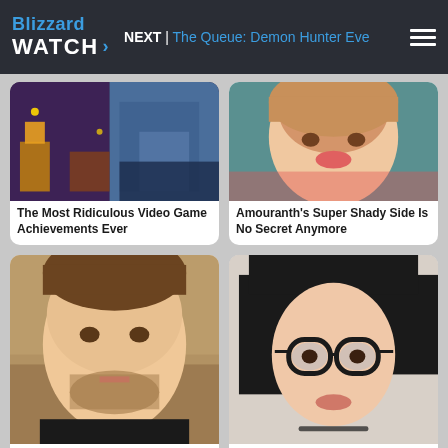Blizzard Watch NEXT | The Queue: Demon Hunter Eve
[Figure (photo): Video game achievements screenshot collage]
The Most Ridiculous Video Game Achievements Ever
[Figure (photo): Close-up photo of Amouranth]
Amouranth's Super Shady Side Is No Secret Anymore
[Figure (photo): Close-up photo of MrBeast]
Tragic Details About MrBeast
[Figure (photo): Close-up photo of SSSniperWolf with glasses]
The Tragic Year That Changed SSSniperWolf Forever